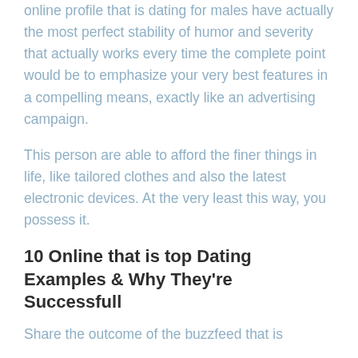online profile that is dating for males have actually the most perfect stability of humor and severity that actually works every time the complete point would be to emphasize your very best features in a compelling means, exactly like an advertising campaign.
This person are able to afford the finer things in life, like tailored clothes and also the latest electronic devices. At the very least this way, you possess it.
10 Online that is top Dating Examples & Why They're Successfull
Share the outcome of the buzzfeed that is